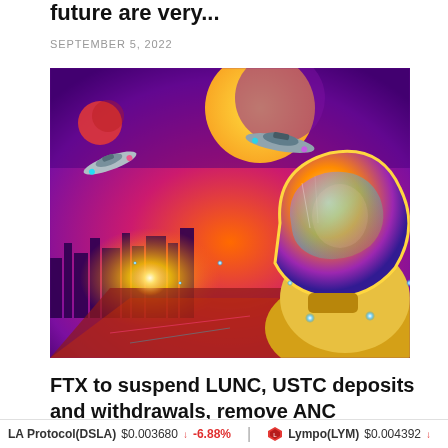future are very...
SEPTEMBER 5, 2022
[Figure (illustration): Colorful digital artwork of an astronaut in a space suit with a reflective helmet visor, set against a vivid neon-lit futuristic cityscape with spaceships, planets, and a glowing sunset in red, purple, and orange tones.]
FTX to suspend LUNC, USTC deposits and withdrawals, remove ANC
LA Protocol(DSLA) $0.003680 ↓ -6.88%   Lympo(LYM) $0.004392 ↓